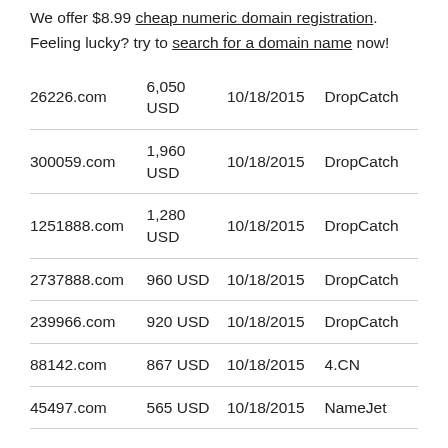We offer $8.99 cheap numeric domain registration. Feeling lucky? try to search for a domain name now!
| Domain | Price | Date | Registrar |
| --- | --- | --- | --- |
| 26226.com | 6,050 USD | 10/18/2015 | DropCatch |
| 300059.com | 1,960 USD | 10/18/2015 | DropCatch |
| 1251888.com | 1,280 USD | 10/18/2015 | DropCatch |
| 2737888.com | 960 USD | 10/18/2015 | DropCatch |
| 239966.com | 920 USD | 10/18/2015 | DropCatch |
| 88142.com | 867 USD | 10/18/2015 | 4.CN |
| 45497.com | 565 USD | 10/18/2015 | NameJet |